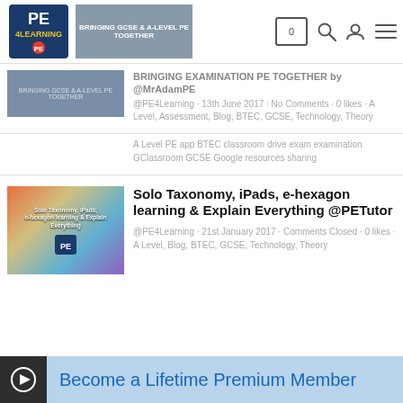PE4Learning site header with logo, cart (0), search, user, and menu icons
[Figure (screenshot): Thumbnail image of blog post about bringing GCSE & A-Level PE together with PE4Learning logo overlay]
BRINGING EXAMINATION PE TOGETHER by @MrAdamPE
@PE4Learning · 13th June 2017 · No Comments · 0 likes · A Level, Assessment, Blog, BTEC, GCSE, Technology, Theory
A Level PE app BTEC classroom drive exam examination GClassroom GCSE Google resources sharing
[Figure (screenshot): Thumbnail image for Solo Taxonomy, iPads, e-hexagon learning & Explain Everything post with colorful PE imagery and PE4Learning logo]
Solo Taxonomy, iPads, e-hexagon learning & Explain Everything @PETutor
@PE4Learning · 21st January 2017 · Comments Closed · 0 likes · A Level, Blog, BTEC, GCSE, Technology, Theory
Become a Lifetime Premium Member